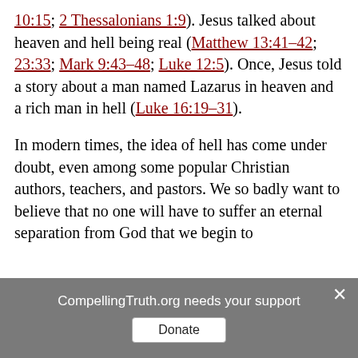10:15; 2 Thessalonians 1:9). Jesus talked about heaven and hell being real (Matthew 13:41–42; 23:33; Mark 9:43–48; Luke 12:5). Once, Jesus told a story about a man named Lazarus in heaven and a rich man in hell (Luke 16:19–31).
In modern times, the idea of hell has come under doubt, even among some popular Christian authors, teachers, and pastors. We so badly want to believe that no one will have to suffer an eternal separation from God that we begin to
CompellingTruth.org needs your support  Donate